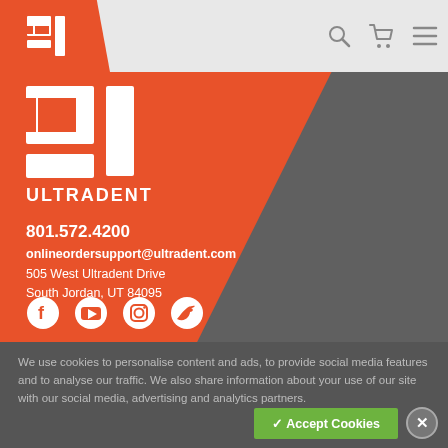[Figure (logo): Ultradent logo in header bar, white on orange/red background]
[Figure (logo): Large Ultradent logo (UD mark + ULTRADENT text) in white on orange background]
801.572.4200
onlineordersupport@ultradent.com
505 West Ultradent Drive
South Jordan, UT 84095
[Figure (infographic): Social media icons row: Facebook, YouTube, Instagram, Twitter]
We use cookies to personalise content and ads, to provide social media features and to analyse our traffic. We also share information about your use of our site with our social media, advertising and analytics partners.
✓ Accept Cookies